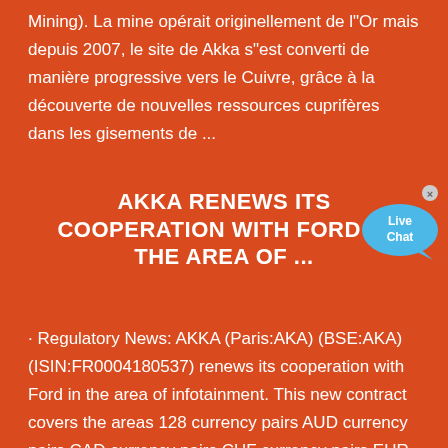Mining). La mine opérait originellement de l'Or mais depuis 2007, le site de Akka s"est converti de manière progressive vers le Cuivre, grâce à la découverte de nouvelles ressources cuprifères dans les gisements de ...
AKKA RENEWS ITS COOPERATION WITH FORD IN THE AREA OF ...
[Figure (illustration): Live Chat button/bubble overlay in blue]
· Regulatory News: AKKA (Paris:AKA) (BSE:AKA) (ISIN:FR0004180537) renews its cooperation with Ford in the area of infotainment. This new contract covers the areas 128 currency pairs AUD currency pairs CAD currency pairs CHF currency pairs EUR currency